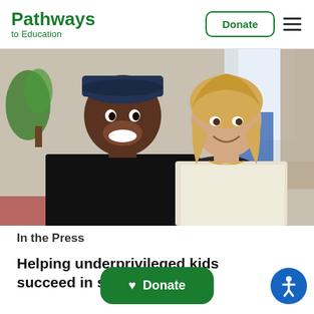Pathways to Education | Donate
[Figure (photo): A young man wearing a backwards baseball cap and black t-shirt smiling with his arm around an older blonde woman in a light-colored top, in a bright indoor setting with plants and furniture in the background.]
In the Press
Helping underprivileged kids succeed in school – CP24